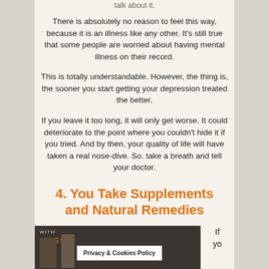talk about it.
There is absolutely no reason to feel this way, because it is an illness like any other. It's still true that some people are worried about having mental illness on their record.
This is totally understandable. However, the thing is, the sooner you start getting your depression treated the better.
If you leave it too long, it will only get worse. It could deteriorate to the point where you couldn't hide it if you tried. And by then, your quality of life will have taken a real nose-dive. So. take a breath and tell your doctor.
4. You Take Supplements and Natural Remedies
[Figure (photo): Photograph of supplement bottles with label text 'WITH' and 'ODES' visible, alongside a Privacy & Cookies Policy banner overlay]
If yo